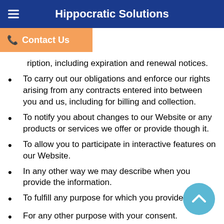Hippocratic Solutions
Contact Us
with notices about your subscription, including expiration and renewal notices.
To carry out our obligations and enforce our rights arising from any contracts entered into between you and us, including for billing and collection.
To notify you about changes to our Website or any products or services we offer or provide though it.
To allow you to participate in interactive features on our Website.
In any other way we may describe when you provide the information.
To fulfill any purpose for which you provide it.
For any other purpose with your consent.